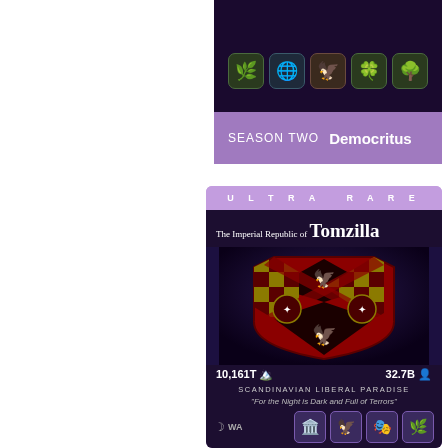[Figure (screenshot): Top portion of a NationStates trading card for 'Democritus', Season Two, showing icons and purple footer bar]
SEASON TWO  Democritus
ULTRA RARE
[Figure (screenshot): NationStates Ultra Rare trading card for The Imperial Republic of Tomzilla, showing a heraldic shield with red and gold checkered pattern, stats 10,161T and 32.7B, government type Scandinavian Liberal Paradise, motto For the Night is Dark and Full of Terrors, WA member icons]
The Imperial Republic of Tomzilla
10,161T  32.7B
SCANDINAVIAN LIBERAL PARADISE
"For the Night is Dark and Full of Terrors"
WA